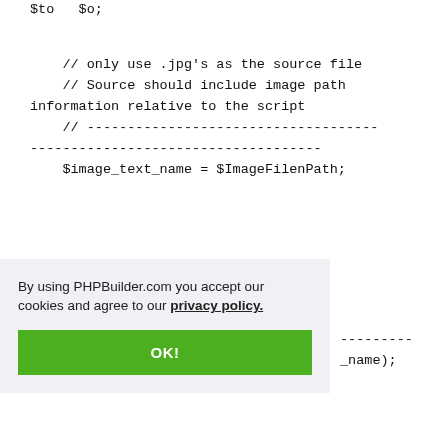$to   $o;
// only use .jpg's as the source file
// Source should include image path information relative to the script
// -----------------------------------------------------------------------
$image_text_name = $ImageFilenPath;
By using PHPBuilder.com you accept our cookies and agree to our privacy policy.
OK!
---------
_name);